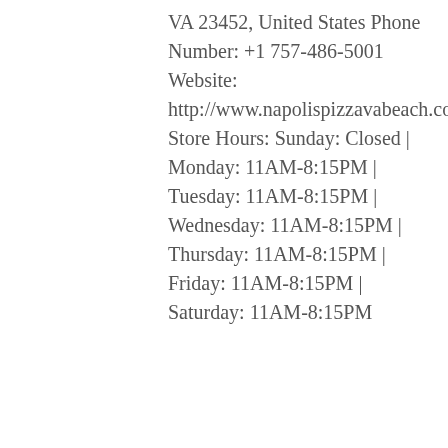VA 23452, United States Phone Number: +1 757-486-5001 Website: http://www.napolispizzavabeach.com/ Store Hours: Sunday: Closed | Monday: 11AM-8:15PM | Tuesday: 11AM-8:15PM | Wednesday: 11AM-8:15PM | Thursday: 11AM-8:15PM | Friday: 11AM-8:15PM | Saturday: 11AM-8:15PM